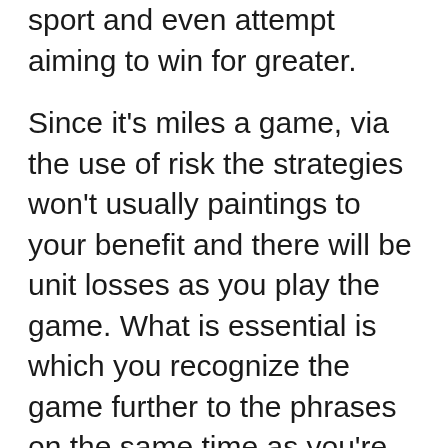sport and even attempt aiming to win for greater.
Since it's miles a game, via the use of risk the strategies won't usually paintings to your benefit and there will be unit losses as you play the game. What is essential is which you recognize the game further to the phrases on the same time as you're playing the game. Such as when you will be hitting a harm even or even as will you be capable of get once more to being even. This is in which you'll comprehend if the method you're the usage of is running for you or not. As